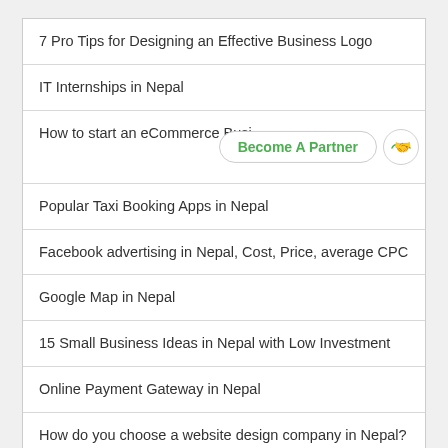7 Pro Tips for Designing an Effective Business Logo
IT Internships in Nepal
How to start an eCommerce Busi…
Popular Taxi Booking Apps in Nepal
Facebook advertising in Nepal, Cost, Price, average CPC
Google Map in Nepal
15 Small Business Ideas in Nepal with Low Investment
Online Payment Gateway in Nepal
How do you choose a website design company in Nepal?
Benefits of Responsive Web Design